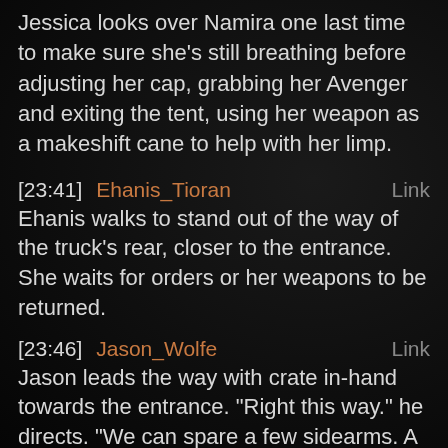Jessica looks over Namira one last time to make sure she's still breathing before adjusting her cap, grabbing her Avenger and exiting the tent, using her weapon as a makeshift cane to help with her limp.
[23:41]  Ehanis_Tioran   Link
Ehanis walks to stand out of the way of the truck's rear, closer to the entrance. She waits for orders or her weapons to be returned.
[23:46]  Jason_Wolfe   Link
Jason leads the way with crate in-hand towards the entrance. "Right this way." he directs. "We can spare a few sidearms. A few items out of our medical kit, too. That might be useful. Know what medigel is? We had a team searching the building today, so